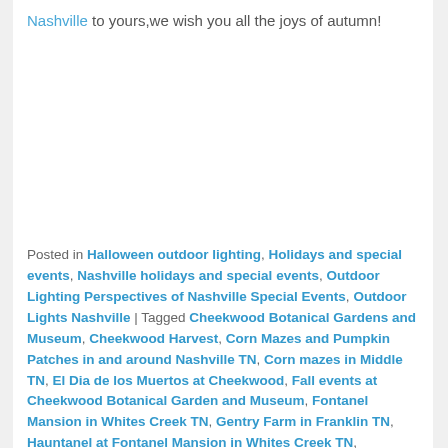Nashville to yours,we wish you all the joys of autumn!
Posted in Halloween outdoor lighting, Holidays and special events, Nashville holidays and special events, Outdoor Lighting Perspectives of Nashville Special Events, Outdoor Lights Nashville | Tagged Cheekwood Botanical Gardens and Museum, Cheekwood Harvest, Corn Mazes and Pumpkin Patches in and around Nashville TN, Corn mazes in Middle TN, El Dia de los Muertos at Cheekwood, Fall events at Cheekwood Botanical Garden and Museum, Fontanel Mansion in Whites Creek TN, Gentry Farm in Franklin TN, Hauntanel at Fontanel Mansion in Whites Creek TN, Hauntings at the Hermitage, LED holiday lighting Nashville, Musicians Corner in Centennial Park Nashville, Nashville, Nashville fall activities, Nashville family friendly fall activities, Nashville holiday lighting, Norman Farm in Hendersonville TN, outdoor lighting Nashville, Outdoor Lighting Perspectives of Nashville